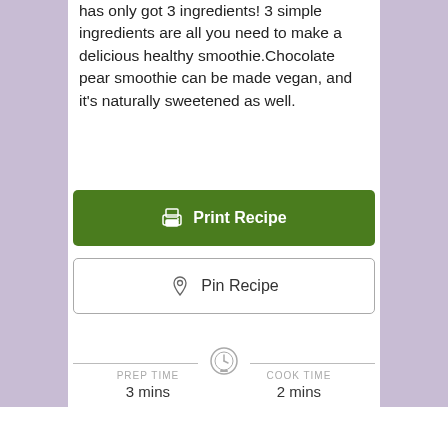has only got 3 ingredients! 3 simple ingredients are all you need to make a delicious healthy smoothie.Chocolate pear smoothie can be made vegan, and it's naturally sweetened as well.
Print Recipe
Pin Recipe
PREP TIME
3 mins
COOK TIME
2 mins
TOTAL TIME
5 mins